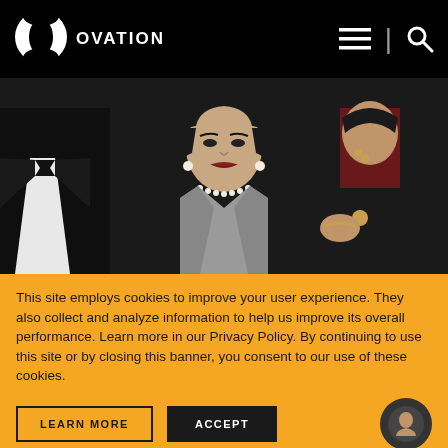[Figure (logo): Ovation TV logo: white circle with inner oval cutout and OVATION text]
[Figure (photo): Photograph of a woman with dark hair, pearl necklace and earrings, wearing a grey blazer, surrounded by people in formal attire at an event]
This site employs cookies to improve your user experience. They also collect and analyze information to help us improve its overall performance. Learn more in our Privacy Policy. By continuing to use this site or by closing this banner, you consent to our use of these cookies.
LEARN MORE
ACCEPT